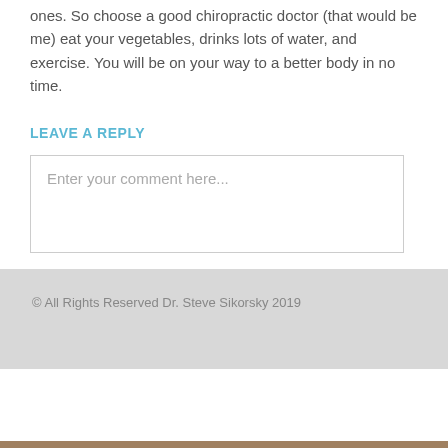ones. So choose a good chiropractic doctor (that would be me) eat your vegetables, drinks lots of water, and exercise. You will be on your way to a better body in no time.
LEAVE A REPLY
Enter your comment here...
© All Rights Reserved Dr. Steve Sikorsky 2019